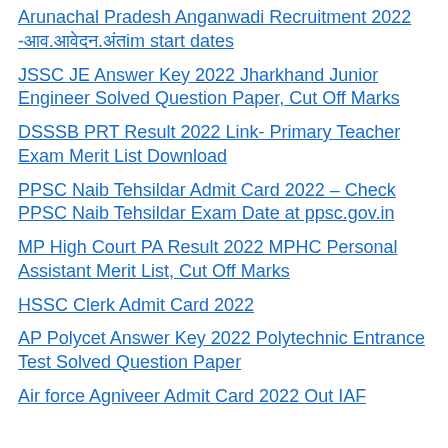Arunachal Pradesh Anganwadi Recruitment 2022 -आव.आवेदन.अंतim start dates
JSSC JE Answer Key 2022 Jharkhand Junior Engineer Solved Question Paper, Cut Off Marks
DSSSB PRT Result 2022 Link- Primary Teacher Exam Merit List Download
PPSC Naib Tehsildar Admit Card 2022 – Check PPSC Naib Tehsildar Exam Date at ppsc.gov.in
MP High Court PA Result 2022 MPHC Personal Assistant Merit List, Cut Off Marks
HSSC Clerk Admit Card 2022
AP Polycet Answer Key 2022 Polytechnic Entrance Test Solved Question Paper
Air force Agniveer Admit Card 2022 Out IAF